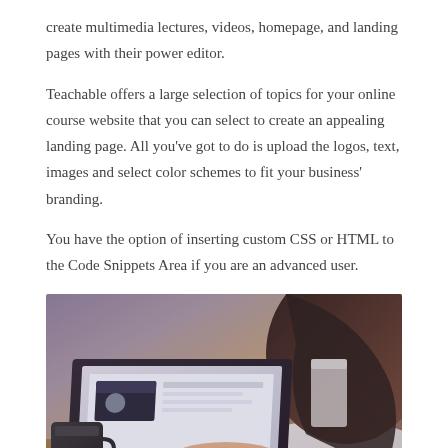create multimedia lectures, videos, homepage, and landing pages with their power editor.
Teachable offers a large selection of topics for your online course website that you can select to create an appealing landing page. All you've got to do is upload the logos, text, images and select color schemes to fit your business' branding.
You have the option of inserting custom CSS or HTML to the Code Snippets Area if you are an advanced user.
[Figure (photo): A woman with long dark hair sitting at a wooden table, typing on a laptop computer, with a dark coffee mug in the foreground on the left side. The photo has a warm, slightly purple-toned background.]